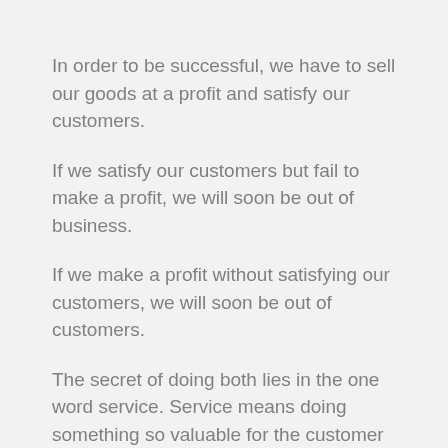In order to be successful, we have to sell our goods at a profit and satisfy our customers.
If we satisfy our customers but fail to make a profit, we will soon be out of business.
If we make a profit without satisfying our customers, we will soon be out of customers.
The secret of doing both lies in the one word service. Service means doing something so valuable for the customer that he is glad to pay a price that allows us to make a profit.